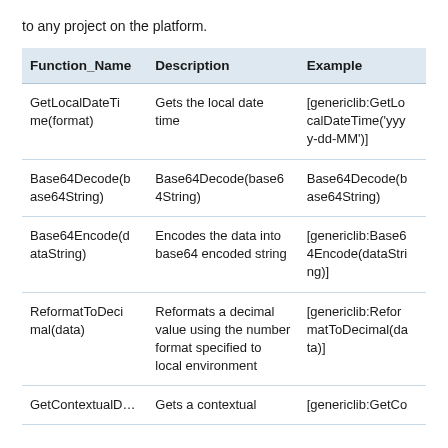to any project on the platform.
| Function_Name | Description | Example |
| --- | --- | --- |
| GetLocalDateTime(format) | Gets the local date time | [genericlib:GetLocalDateTime('yyyy-dd-MM')] |
| Base64Decode(base64String) | Base64Decode(base64String) | Base64Decode(base64String) |
| Base64Encode(dataString) | Encodes the data into base64 encoded string | [genericlib:Base64Encode(dataString)] |
| ReformatToDecimal(data) | Reformats a decimal value using the number format specified to local environment | [genericlib:ReformatToDecimal(data)] |
| GetContextualD… | Gets a contextual | [genericlib:GetCo… |